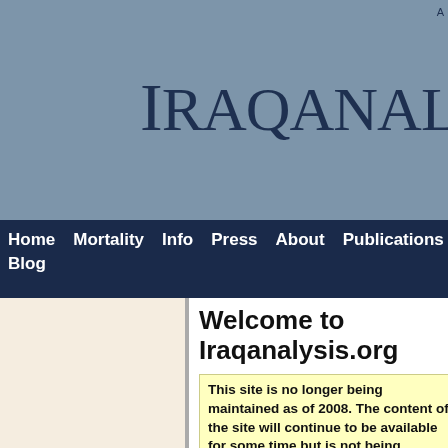Iraqanalysis.org
Home  Mortality  Info  Press  About  Publications  Contact  Keywords  Blog
Welcome to Iraqanalysis.org
This site is no longer being maintained as of 2008. The content of the site will continue to be available for some time but is not being updated.
Mortality in post-invasion Iraq
New section on mortality estimates in Ir…